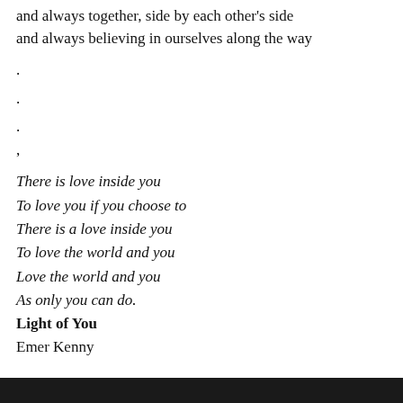and always together, side by each other's side
and always believing in ourselves along the way
.
.
.
,
There is love inside you
To love you if you choose to
There is a love inside you
To love the world and you
Love the world and you
As only you can do.
Light of You
Emer Kenny
.